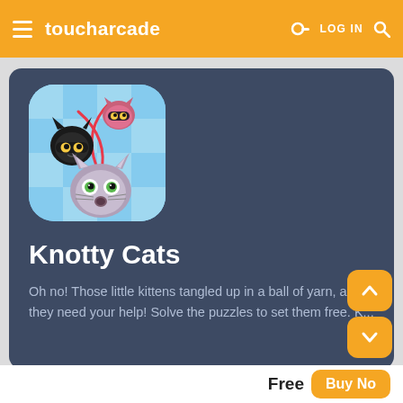toucharcade  LOG IN
[Figure (screenshot): Knotty Cats app icon showing cartoon cat faces tangled in string on a light blue background with rounded corners]
Knotty Cats
Oh no! Those little kittens tangled up in a ball of yarn, and they need your help! Solve the puzzles to set them free. K...
Free
Buy Now